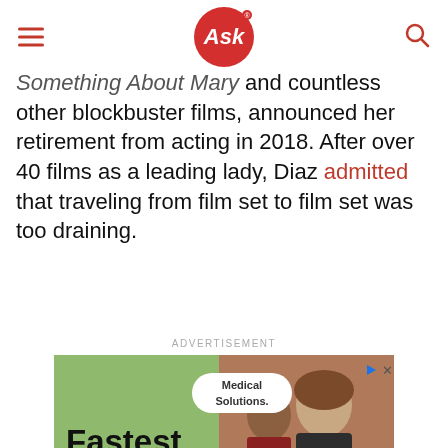Ask
Something About Mary and countless other blockbuster films, announced her retirement from acting in 2018. After over 40 films as a leading lady, Diaz admitted that traveling from film set to film set was too draining.
ADVERTISEMENT
[Figure (other): Advertisement for Medical Solutions featuring 'Fastest Apply Process' text on green background with photo of two smiling healthcare workers looking at a screen, and a VISIT SITE button at the bottom.]